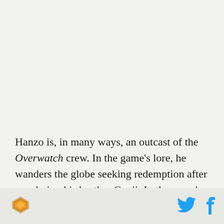Hanzo is, in many ways, an outcast of the Overwatch crew. In the game's lore, he wanders the globe seeking redemption after murdering his brother Genji. In the game's meta, Hanzo players are often considered
[Figure (logo): Orange/gold layered hexagon logo in the page footer]
[Figure (logo): Twitter bird icon in cyan/blue in the page footer]
[Figure (logo): Facebook 'f' icon in cyan/blue in the page footer]